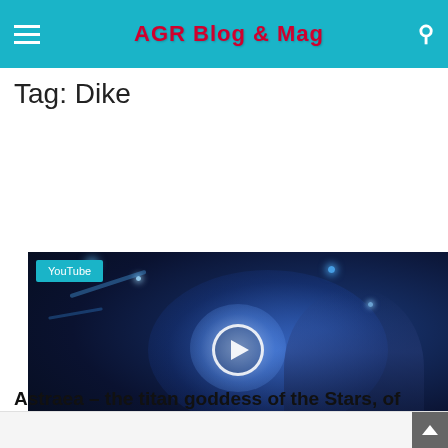AGR Blog & Mag
Tag: Dike
[Figure (screenshot): Fantasy illustration of a glowing ethereal goddess figure with blue magical energy and an orb, with a YouTube play button overlay and a 'YouTube' category badge in the top-left corner.]
This site uses cookies. By continuing to browse the site you are agreeing to our use of cookies Find out more here
Astraea – the titan goddess of the Stars, of